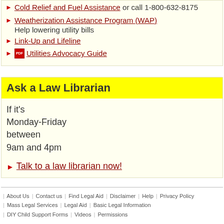Cold Relief and Fuel Assistance or call 1-800-632-8175
Weatherization Assistance Program (WAP) Help lowering utility bills
Link-Up and Lifeline
Utilities Advocacy Guide
Ask a Law Librarian
If it's Monday-Friday between 9am and 4pm
Talk to a law librarian now!
| About Us | Contact us | Find Legal Aid | Disclaimer | Help | Privacy Policy | Mass Legal Services | Legal Aid | Basic Legal Information | DIY Child Support Forms | Videos | Permissions